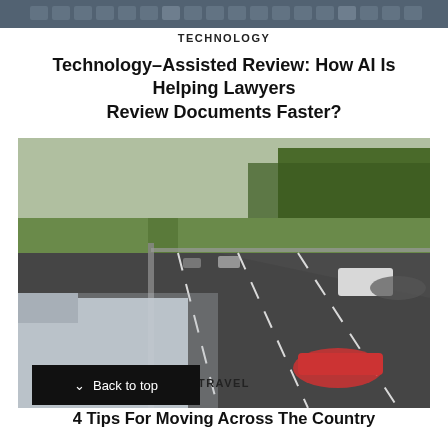[Figure (photo): Partial top image, cropped — appears to be a technology/keyboard scene]
TECHNOLOGY
Technology-Assisted Review: How AI Is Helping Lawyers Review Documents Faster?
[Figure (photo): Aerial view of a busy highway with trucks and cars in motion, trees visible in the background]
TRAVEL
4 Tips For Moving Across The Country